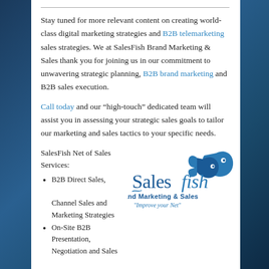Stay tuned for more relevant content on creating world-class digital marketing strategies and B2B telemarketing sales strategies. We at SalesFish Brand Marketing & Sales thank you for joining us in our commitment to unwavering strategic planning, B2B brand marketing and B2B sales execution.
Call today and our “high-touch” dedicated team will assist you in assessing your strategic sales goals to tailor our marketing and sales tactics to your specific needs.
SalesFish Net of Sales Services:
[Figure (logo): SalesFish Brand Marketing & Sales logo with fish icon and tagline 'Improve your Net']
B2B Direct Sales, Channel Sales and Marketing Strategies
On-Site B2B Presentation, Negotiation and Sales